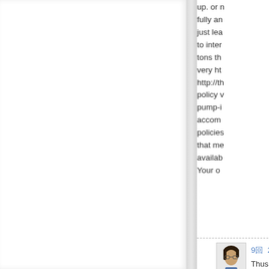[Figure (illustration): Left blank white page of an open book with spine shadow in the center]
up. or n fully an just lea to inter tons th very ht http://th policy v pump-i accom policies that me availab Your o
[Figure (photo): Small avatar photo of a person with dark hair and glasses]
9回- 20
Thus t